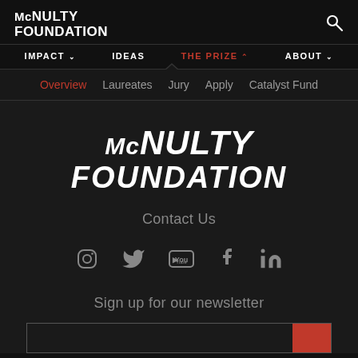McNULTY FOUNDATION
IMPACT   IDEAS   THE PRIZE   ABOUT
Overview / Laureates / Jury / Apply / Catalyst Fund
[Figure (logo): McNulty Foundation large centered logo in white bold italic text on dark background]
Contact Us
[Figure (infographic): Social media icons row: Instagram, Twitter, YouTube, Facebook, LinkedIn in gray]
Sign up for our newsletter